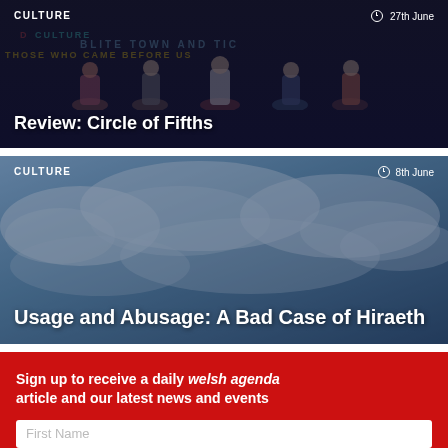[Figure (photo): Dark theatrical scene with performers holding up colorful letter banners, showing 'THOSE WHO CAME BEFORE' text]
CULTURE   27th June
Review: Circle of Fifths
[Figure (photo): Cloudy sky background with dark blue overlay for article card]
CULTURE   8th June
Usage and Abusage: A Bad Case of Hiraeth
Sign up to receive a daily welsh agenda article and our latest news and events
First Name
Last Name